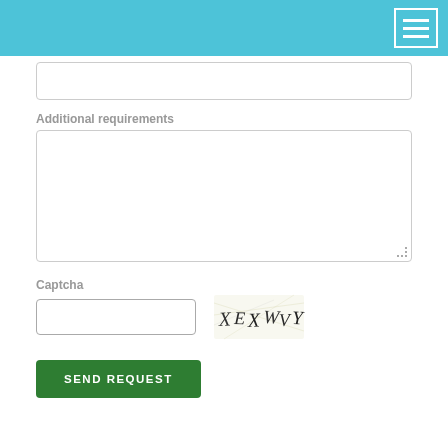[Figure (screenshot): Teal/cyan navigation header bar with hamburger menu icon (three horizontal white lines) in a white-bordered square on the right side]
Additional requirements
Captcha
[Figure (other): CAPTCHA image showing distorted text: XEXWVY]
SEND REQUEST